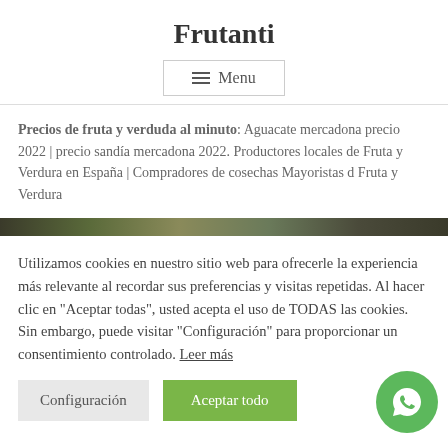Frutanti
Menu
Precios de fruta y verduda al minuto: Aguacate mercadona precio 2022 | precio sandía mercadona 2022. Productores locales de Fruta y Verdura en España | Compradores de cosechas Mayoristas d Fruta y Verdura
[Figure (photo): Dark green/brown image strip representing fruits and vegetables]
Utilizamos cookies en nuestro sitio web para ofrecerle la experiencia más relevante al recordar sus preferencias y visitas repetidas. Al hacer clic en "Aceptar todas", usted acepta el uso de TODAS las cookies. Sin embargo, puede visitar "Configuración" para proporcionar un consentimiento controlado. Leer más
Configuración | Aceptar todo